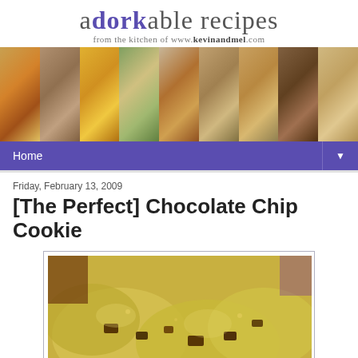adorkable recipes — from the kitchen of www.kevinandmel.com
[Figure (photo): Collage of food photos: pizza, cookies, egg dish, vegetables, pie, waffle cookies, bagels, chocolate bars, sliced bread]
Home ▼
Friday, February 13, 2009
[The Perfect] Chocolate Chip Cookie
[Figure (photo): Close-up photo of chocolate chip cookies with large chocolate chunks, golden and crumbly texture]